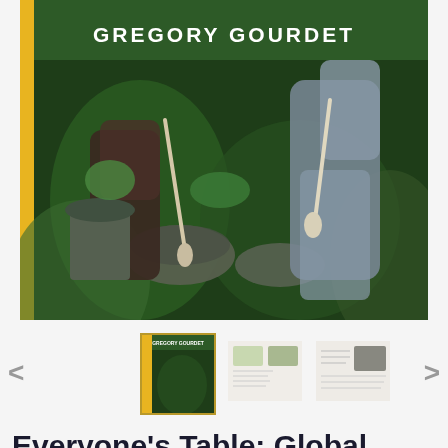[Figure (photo): Book cover of 'Everyone's Table: Global Recipes for Modern Health' by Gregory Gourdet. Shows a person in a grey apron working with herbs and plants, with the author name 'GREGORY GOURDET' displayed at the top in white text. Yellow/gold left border.]
[Figure (screenshot): Thumbnail image strip showing three thumbnail images of the book — the cover, an interior spread, and another interior spread. Left and right navigation arrows flank the thumbnails.]
Everyone's Table: Global Recipes for Modern Health by Gregory Gourdet -